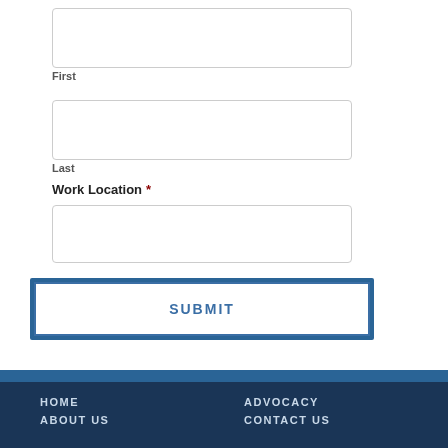First
Last
Work Location *
SUBMIT
HOME   ADVOCACY   ABOUT US   CONTACT US